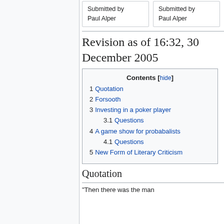Submitted by Paul Alper
Submitted by Paul Alper
Revision as of 16:32, 30 December 2005
| 1 Quotation |
| 2 Forsooth |
| 3 Investing in a poker player |
| 3.1 Questions |
| 4 A game show for probabalists |
| 4.1 Questions |
| 5 New Form of Literary Criticism |
Quotation
"Then there was the man